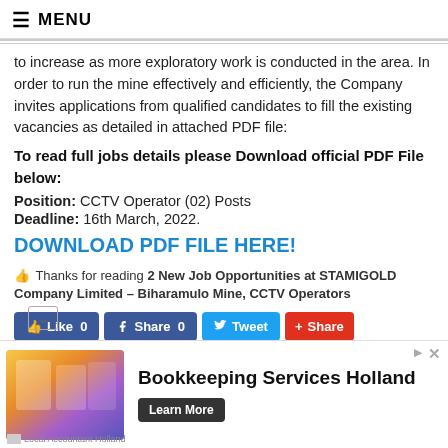≡ MENU
to increase as more exploratory work is conducted in the area. In order to run the mine effectively and efficiently, the Company invites applications from qualified candidates to fill the existing vacancies as detailed in attached PDF file:
To read full jobs details please Download official PDF File below:
Position: CCTV Operator (02) Posts
Deadline: 16th March, 2022.
DOWNLOAD PDF FILE HERE!
👍 Thanks for reading 2 New Job Opportunities at STAMIGOLD Company Limited – Biharamulo Mine, CCTV Operators
[Figure (other): Social sharing buttons: Like 0, Share 0, Tweet, Share]
[Figure (other): Advertisement banner: Bookkeeping Services Holland, Learn More button, Local Accountant Holland]